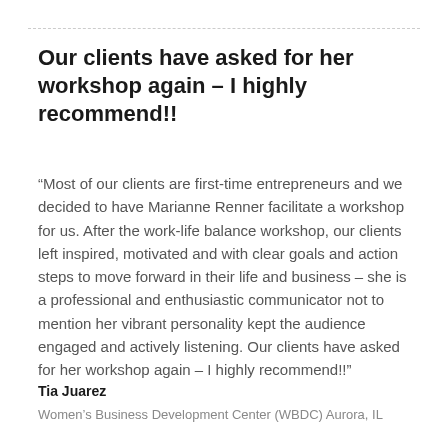Our clients have asked for her workshop again – I highly recommend!!
“Most of our clients are first-time entrepreneurs and we decided to have Marianne Renner facilitate a workshop for us. After the work-life balance workshop, our clients left inspired, motivated and with clear goals and action steps to move forward in their life and business – she is a professional and enthusiastic communicator not to mention her vibrant personality kept the audience engaged and actively listening. Our clients have asked for her workshop again – I highly recommend!!”
Tia Juarez
Women’s Business Development Center (WBDC) Aurora, IL